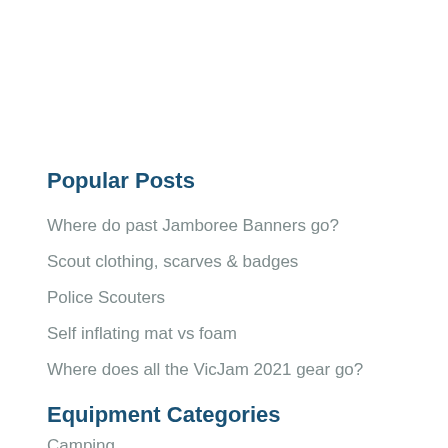Popular Posts
Where do past Jamboree Banners go?
Scout clothing, scarves & badges
Police Scouters
Self inflating mat vs foam
Where does all the VicJam 2021 gear go?
Equipment Categories
Camping
Checklists